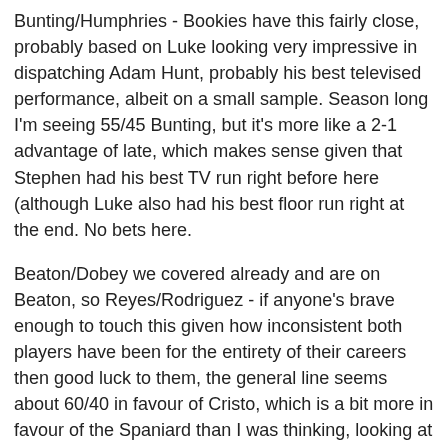Bunting/Humphries - Bookies have this fairly close, probably based on Luke looking very impressive in dispatching Adam Hunt, probably his best televised performance, albeit on a small sample. Season long I'm seeing 55/45 Bunting, but it's more like a 2-1 advantage of late, which makes sense given that Stephen had his best TV run right before here (although Luke also had his best floor run right at the end. No bets here.
Beaton/Dobey we covered already and are on Beaton, so Reyes/Rodriguez - if anyone's brave enough to touch this given how inconsistent both players have been for the entirety of their careers then good luck to them, the general line seems about 60/40 in favour of Cristo, which is a bit more in favour of the Spaniard than I was thinking, looking at roughly 55/45 year long - although over the last few months it's probably looking even better for Rowby, despite that being the timespan where Cristo's had his one key TV result. 0.25u Rodriguez 13/10, his figures were good in the opener and like in that game the pace should suit him, it's not the greatest play in the world but I think there's enough edge all things considered to go small on it.